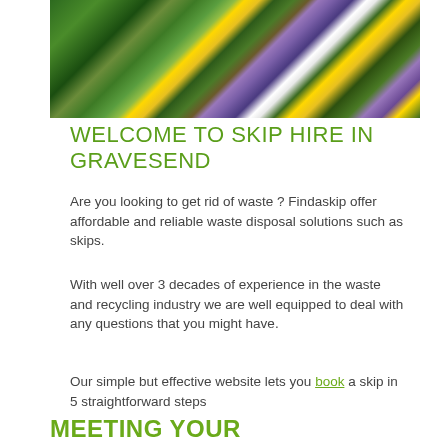[Figure (photo): Overhead view of colorful wildflowers including purple, yellow, and white blooms with green foliage]
WELCOME TO SKIP HIRE IN GRAVESEND
Are you looking to get rid of waste ? Findaskip offer affordable and reliable waste disposal solutions such as skips.
With well over 3 decades of experience in the waste and recycling industry we are well equipped to deal with any questions that you might have.
Our simple but effective website lets you book a skip in 5 straightforward steps
MEETING YOUR REQUIREMENTS